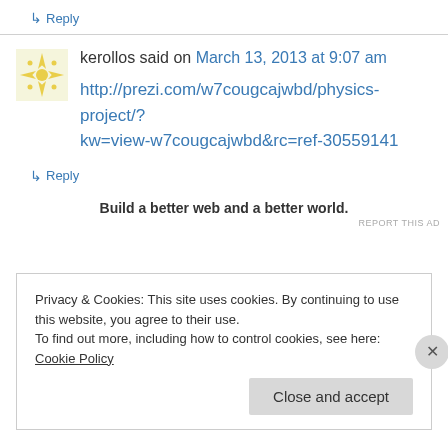↳ Reply
kerollos said on March 13, 2013 at 9:07 am
http://prezi.com/w7cougcajwbd/physics-project/?kw=view-w7cougcajwbd&rc=ref-30559141
↳ Reply
Build a better web and a better world.
REPORT THIS AD
Privacy & Cookies: This site uses cookies. By continuing to use this website, you agree to their use. To find out more, including how to control cookies, see here: Cookie Policy
Close and accept